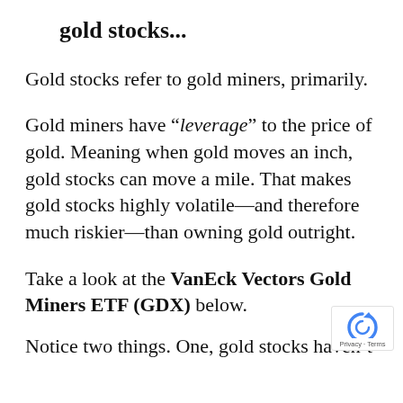gold stocks...
Gold stocks refer to gold miners, primarily.
Gold miners have “lевerage” to the price of gold. Meaning when gold moves an inch, gold stocks can move a mile. That makes gold stocks highly volatile—and therefore much riskier—than owning gold outright.
Take a look at the VanEck Vectors Gold Miners ETF (GDX) below.
Notice two things. One, gold stocks haven’t